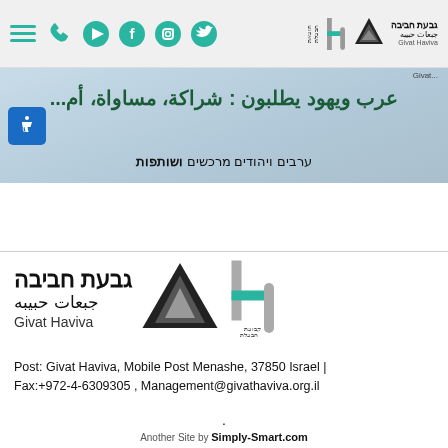Givat Haviva website header with navigation icons and logo
[Figure (photo): Banner image with Arabic and Hebrew text about Arabs and Jews demanding partnership, equality, and security. Arabic text: عرب ويهود يطلبون : شراكة، مساواة، أم... Hebrew text: ערבים ויהודים מרכשים ושותפות]
[Figure (logo): Givat Haviva logo with Hebrew text גבעת חביבה, Arabic text جبعات حبيبه, English text Givat Haviva, mountain/triangle graphic and H letter mark]
Post: Givat Haviva, Mobile Post Menashe, 37850 Israel | Fax:+972-4-6309305 , Management@givathaviva.org.il
Another Site by Simply-Smart.com